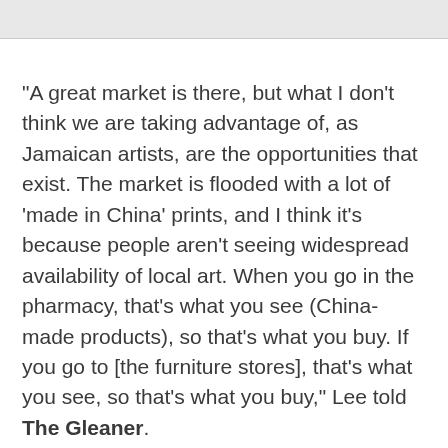"A great market is there, but what I don't think we are taking advantage of, as Jamaican artists, are the opportunities that exist. The market is flooded with a lot of 'made in China' prints, and I think it's because people aren't seeing widespread availability of local art. When you go in the pharmacy, that's what you see (China-made products), so that's what you buy. If you go to [the furniture stores], that's what you see, so that's what you buy," Lee told The Gleaner.
ADVERTISEMENT